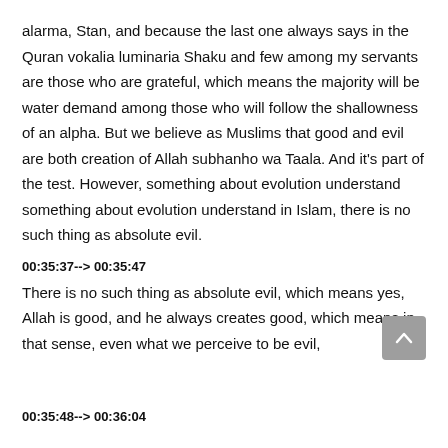alarma, Stan, and because the last one always says in the Quran vokalia luminaria Shaku and few among my servants are those who are grateful, which means the majority will be water demand among those who will follow the shallowness of an alpha. But we believe as Muslims that good and evil are both creation of Allah subhanho wa Taala. And it's part of the test. However, something about evolution understand something about evolution understand in Islam, there is no such thing as absolute evil.
00:35:37--> 00:35:47
There is no such thing as absolute evil, which means yes, Allah is good, and he always creates good, which means in that sense, even what we perceive to be evil,
00:35:48--> 00:36:04